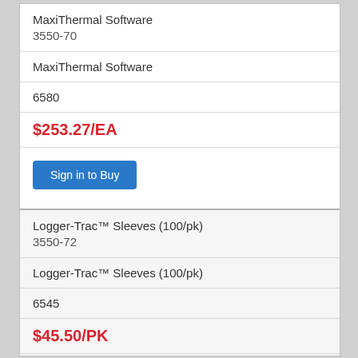MaxiThermal Software
3550-70
MaxiThermal Software
6580
$253.27/EA
Sign in to Buy
Logger-Trac™ Sleeves (100/pk)
3550-72
Logger-Trac™ Sleeves (100/pk)
6545
$45.50/PK
Sign in to Buy